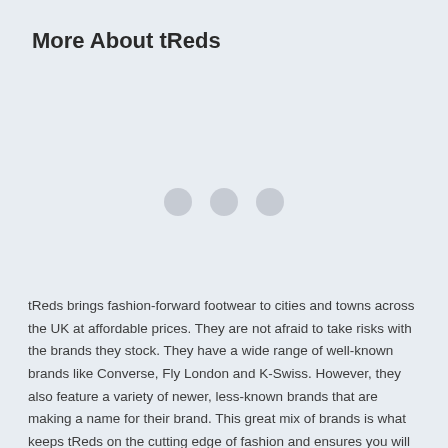More About tReds
[Figure (other): Three grey loading dots centered on the page, indicating a loading state for an image or content area]
tReds brings fashion-forward footwear to cities and towns across the UK at affordable prices. They are not afraid to take risks with the brands they stock. They have a wide range of well-known brands like Converse, Fly London and K-Swiss. However, they also feature a variety of newer, less-known brands that are making a name for their brand. This great mix of brands is what keeps tReds on the cutting edge of fashion and ensures you will always be in style, regardless of how fast the fashion industry changes.